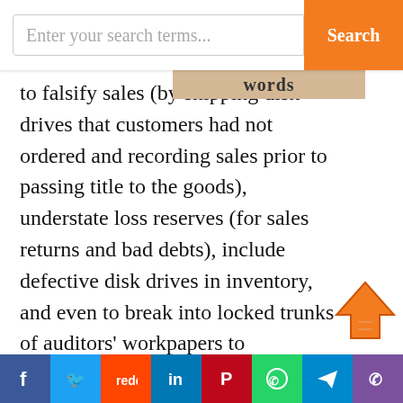Enter your search terms... Search
to falsify sales (by shipping disk drives that customers had not ordered and recording sales prior to passing title to the goods), understate loss reserves (for sales returns and bad debts), include defective disk drives in inventory, and even to break into locked trunks of auditors' workpapers to alter/inflate inventory values. The outcome: MiniScribe filed for bankruptcy court protection in January 1990, and began liquidating the company in April 1991. Several lawsuits ensued, brought by former bondholders and
f  t  reddit  in  P  WhatsApp  Telegram  phone